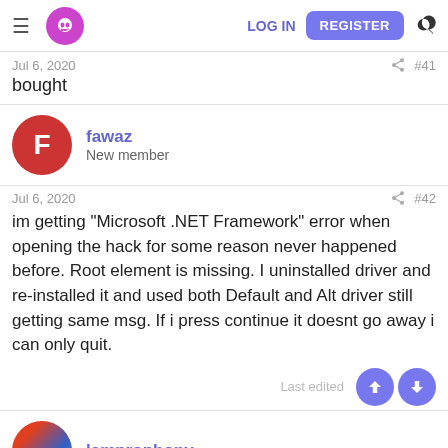LOG IN  REGISTER
Jul 6, 2020   #41
bought
fawaz
New member
Jul 6, 2020   #42
im getting "Microsoft .NET Framework" error when opening the hack for some reason never happened before. Root element is missing. I uninstalled driver and re-installed it and used both Default and Alt driver still getting same msg. If i press continue it doesnt go away i can only quit.
Last edited
lamprophony